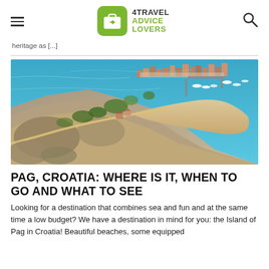4TRAVEL ADVICE LOVERS — site header with hamburger menu, logo, and search icon
heritage as [...]
[Figure (photo): Aerial photograph of Pag, Croatia showing a coastal town with terracotta-roofed buildings, a sandy beach, harbor with boats, and bright blue Adriatic Sea water surrounded by rocky limestone terrain.]
PAG, CROATIA: WHERE IS IT, WHEN TO GO AND WHAT TO SEE
Looking for a destination that combines sea and fun and at the same time a low budget? We have a destination in mind for you: the Island of Pag in Croatia! Beautiful beaches, some equipped